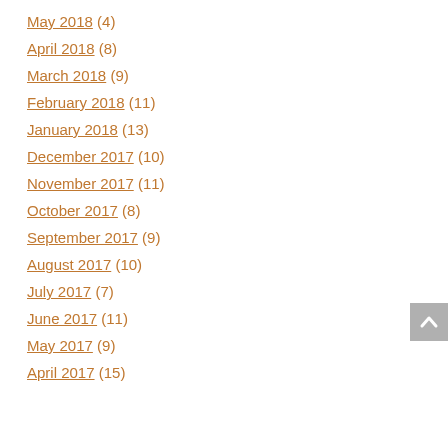May 2018 (4)
April 2018 (8)
March 2018 (9)
February 2018 (11)
January 2018 (13)
December 2017 (10)
November 2017 (11)
October 2017 (8)
September 2017 (9)
August 2017 (10)
July 2017 (7)
June 2017 (11)
May 2017 (9)
April 2017 (15)